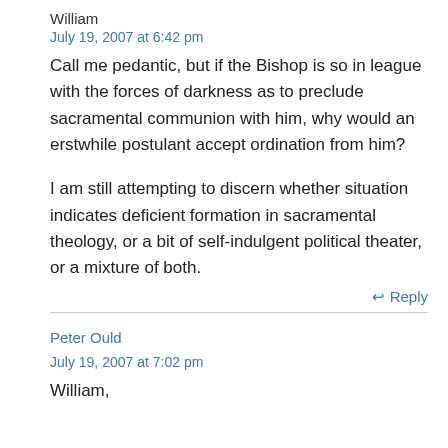William
July 19, 2007 at 6:42 pm
Call me pedantic, but if the Bishop is so in league with the forces of darkness as to preclude sacramental communion with him, why would an erstwhile postulant accept ordination from him?
I am still attempting to discern whether situation indicates deficient formation in sacramental theology, or a bit of self-indulgent political theater, or a mixture of both.
Reply
Peter Ould
July 19, 2007 at 7:02 pm
William,